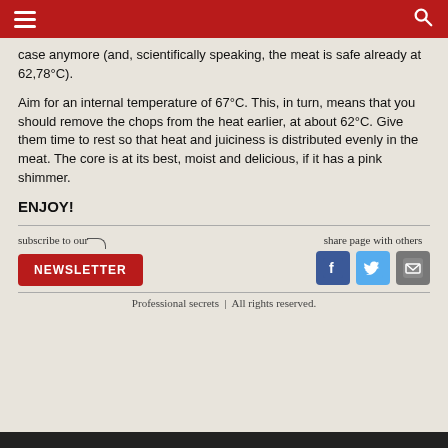case anymore (and, scientifically speaking, the meat is safe already at 62,78°C).
Aim for an internal temperature of 67°C. This, in turn, means that you should remove the chops from the heat earlier, at about 62°C. Give them time to rest so that heat and juiciness is distributed evenly in the meat. The core is at its best, moist and delicious, if it has a pink shimmer.
ENJOY!
subscribe to our NEWSLETTER
share page with others
Professional secrets | All rights reserved.